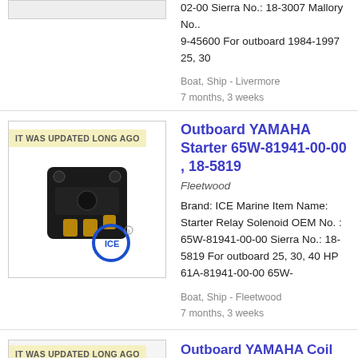02-00 Sierra No.: 18-3007 Mallory No.: 9-45600 For outboard 1984-1997 25, 30
Boat, Ship - Livermore
7 months, 3 weeks
[Figure (photo): Photo of a starter relay solenoid part with badge reading IT WAS UPDATED LONG AGO]
Outboard YAMAHA Starter 65W-81941-00-00 , 18-5819
Fleetwood
Brand: ICE Marine Item Name: Starter Relay Solenoid OEM No. : 65W-81941-00-00 Sierra No.: 18-5819 For outboard 25, 30, 40 HP 61A-81941-00-00 65W-
Boat, Ship - Fleetwood
7 months, 3 weeks
[Figure (photo): Partial photo with badge IT WAS UPDATED LONG AGO]
Outboard YAMAHA Coil